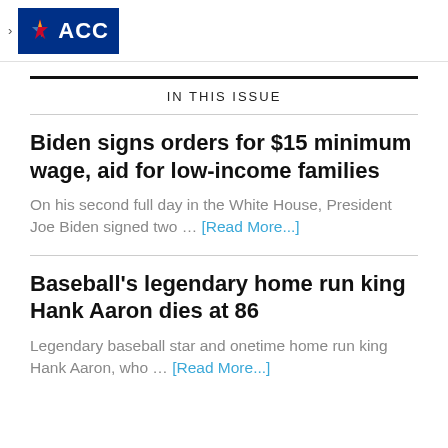[Figure (logo): ACC logo — blue background with multicolor star and white ACC text]
IN THIS ISSUE
Biden signs orders for $15 minimum wage, aid for low-income families
On his second full day in the White House, President Joe Biden signed two … [Read More...]
Baseball's legendary home run king Hank Aaron dies at 86
Legendary baseball star and onetime home run king Hank Aaron, who … [Read More...]